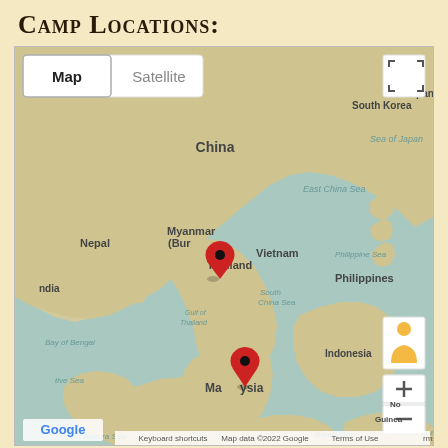Camp Locations:
[Figure (map): Google Maps screenshot showing Southeast Asia and East Asia region with two red location pins: one in Myanmar (Burma)/Thailand border area and one in Malaysia. Map shows China, Nepal, India, South Korea, Japan, Vietnam, Philippines, Indonesia and surrounding seas. Map/Satellite toggle buttons visible. Google branding and map controls visible.]